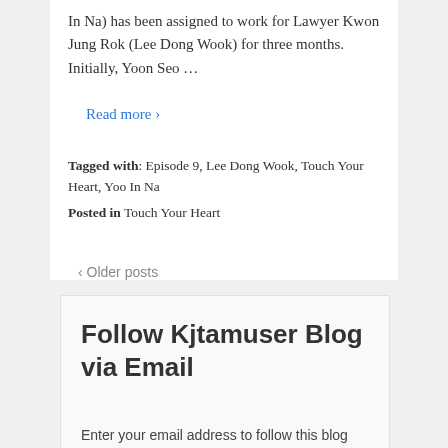In Na) has been assigned to work for Lawyer Kwon Jung Rok (Lee Dong Wook) for three months. Initially, Yoon Seo …
Read more ›
Tagged with: Episode 9, Lee Dong Wook, Touch Your Heart, Yoo In Na
Posted in Touch Your Heart
‹ Older posts
Follow Kjtamuser Blog via Email
Enter your email address to follow this blog and receive notifications of new posts by email.